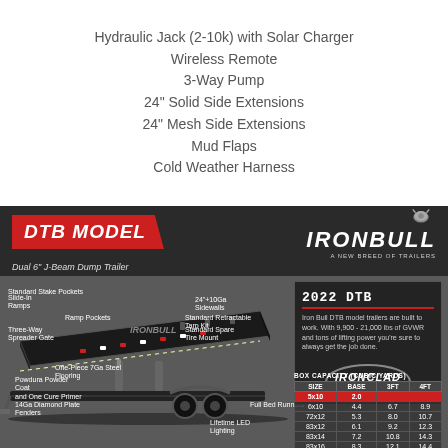Hydraulic Jack (2-10k) with Solar Charger
Wireless Remote
3-Way Pump
24" Solid Side Extensions
24" Mesh Side Extensions
Mud Flaps
Cold Weather Harness
[Figure (infographic): IronBull DTB Model dump trailer infographic showing the Dual 6" J-Beam Dump Trailer with labeled parts including Standard Stake Pockets, 24"+10Ga Sidewalls, Slide-In Ramps, Ramp Pockets, Three-Way Spreader Gate, Standard Retractable Tarp Kit, Standard Spare Tire Mount, One-Piece 7Ga Steel Flooring, Powdura Powder Coat and One Cure Primer, 14Ga Diamond Plate Fenders, Full Bed Runners, Lifetime LED Lighting. Includes 2022 DTB info box with Ironclad Warranty badge and box capacity table in cubic yards.]
| SIZE | BASE | 3FT | 4FT |
| --- | --- | --- | --- |
| 5x10 | 2.0 |  |  |
| 6x10 | 4.4 | 6.7 | 8.9 |
| 72x12 | 5.3 | 8.0 | 10.7 |
| 83x12 | 6.1 | 9.2 | 12.3 |
| 83x14 | 7.2 | 10.8 | 14.3 |
| 83x16 | 8.3 | 12.1 | 14.4 |